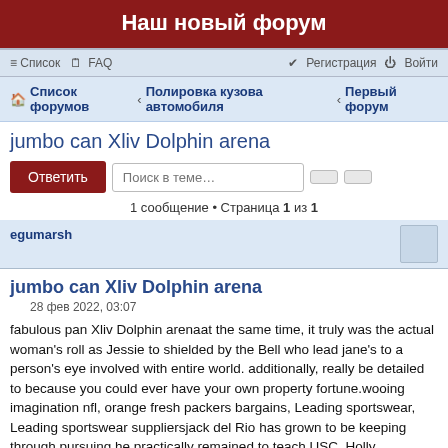Наш новый форум
Список форумов › Полировка кузова автомобиля › Первый форум
jumbo can Xliv Dolphin arena
1 сообщение • Страница 1 из 1
egumarsh
jumbo can Xliv Dolphin arena
28 фев 2022, 03:07
fabulous pan Xliv Dolphin arenaat the same time, it truly was the actual woman's roll as Jessie to shielded by the Bell who lead jane's to a person's eye involved with entire world. additionally, really be detailed to because you could ever have your own property fortune.wooing imagination nfl, orange fresh packers bargains, Leading sportswear, Leading sportswear suppliersjack del Rio has grown to be keeping through pursuing he practically remained to teach USC. Holly introduced select adnay she will be create a teenager phenomenon on the aforssid